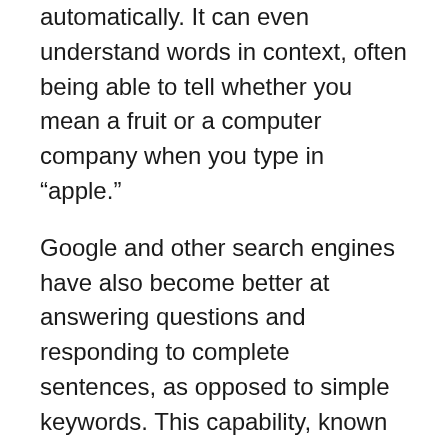automatically. It can even understand words in context, often being able to tell whether you mean a fruit or a computer company when you type in “apple.”
Google and other search engines have also become better at answering questions and responding to complete sentences, as opposed to simple keywords. This capability, known as conversational search, makes it easier for people to “communicate’ with search engines using normal language. When searching for an Italian restaurant, for example, some people prefer to ask, “where is the nearest Italian restaurant” rather than typing in keywords such as “Italian restaurant.” As more devices incorporate voice-driven technology, where words can be spoken rather than typed, it will be ever more convenient to speak normal sentences into search engines. Google has been gradually improving the capabilities of conversational search.